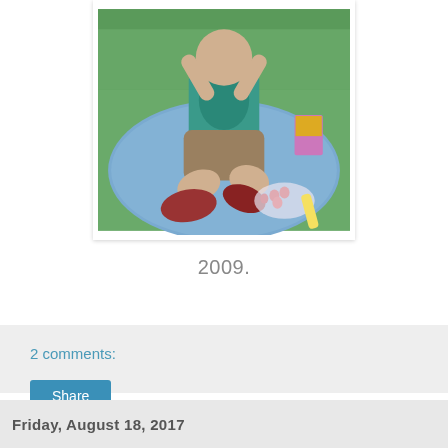[Figure (photo): A child sitting cross-legged on a blue picnic blanket outdoors on grass, wearing a teal shirt and red crocs shoes, appearing to eat something, with a juice box and strawberries visible nearby.]
2009.
2 comments:
Share
Friday, August 18, 2017